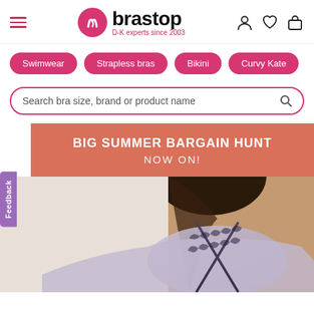[Figure (screenshot): Brastop website header with hamburger menu, logo (pink circle with 'brastop' text and 'D-K experts since 2003' tagline), and icons for account, wishlist, and bag]
Swimwear
Strapless bras
Bikini
Curvy Kate
Search bra size, brand or product name
Feedback
BIG SUMMER BARGAIN HUNT NOW ON!
[Figure (photo): Close-up photo of a woman wearing a light purple/lavender bra with dark navy lace and cage/strappy detail on the back]